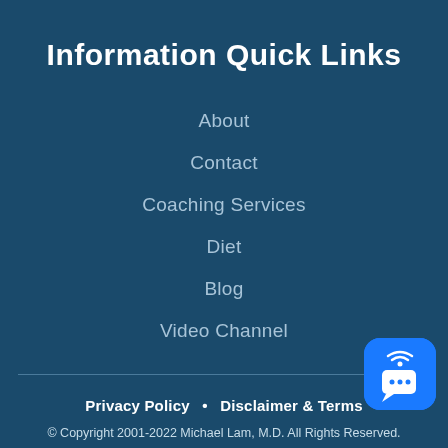Information Quick Links
About
Contact
Coaching Services
Diet
Blog
Video Channel
Privacy Policy  •  Disclaimer & Terms
© Copyright 2001-2022 Michael Lam, M.D. All Rights Reserved.